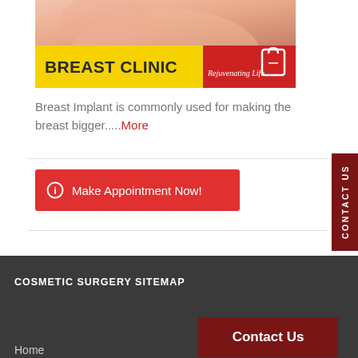[Figure (photo): Breast clinic banner with yellow header reading BREAST CLINIC and red corner with Rejuvenating Life text and logo, above a skin-toned photo]
Breast Implant is commonly used for making the breast bigger.....More
Make Appointment Now!
CONTACT US
COSMETIC SURGERY SITEMAP
Contact Us
Home